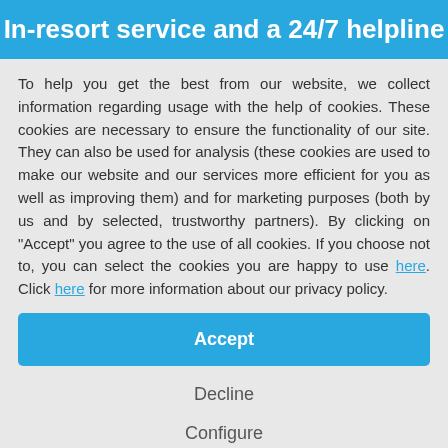In-resort service and a 24/7 helpline
To help you get the best from our website, we collect information regarding usage with the help of cookies. These cookies are necessary to ensure the functionality of our site. They can also be used for analysis (these cookies are used to make our website and our services more efficient for you as well as improving them) and for marketing purposes (both by us and by selected, trustworthy partners). By clicking on "Accept" you agree to the use of all cookies. If you choose not to, you can select the cookies you are happy to use here. Click here for more information about our privacy policy.
Accept
Decline
Configure